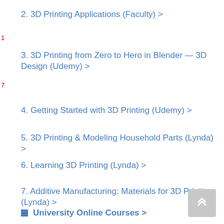2. 3D Printing Applications (Faculty) >
3. 3D Printing from Zero to Hero in Blender — 3D Design (Udemy) >
4. Getting Started with 3D Printing (Udemy) >
5. 3D Printing & Modeling Household Parts (Lynda) >
6. Learning 3D Printing (Lynda) >
7. Additive Manufacturing: Materials for 3D Printing (Lynda) >
University Online Courses >
8. Foundations of 3D Printing (CSU Online) >